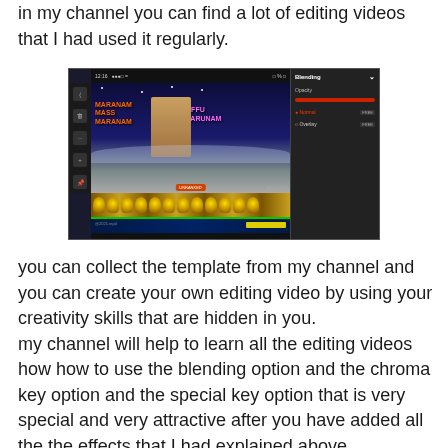in my channel you can find a lot of editing videos that I had used it regularly.
[Figure (screenshot): Screenshot of a video editing app (KineMaster or similar) showing a video project with colorful title text 'MARANAM MASS MARANAM' and 'DAFFU THARUNAM', a blending options panel on the right, and a timeline with gold and blue tracks at the bottom.]
you can collect the template from my channel and you can create your own editing video by using your creativity skills that are hidden in you.
my channel will help to learn all the editing videos how how to use the blending option and the chroma key option and the special key option that is very special and very attractive after you have added all the the effects that I had explained above.
So all of you guys learn this editing videos by using my